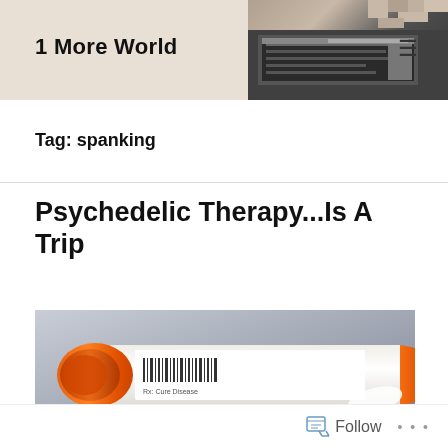1 More World
Tag: spanking
Psychedelic Therapy...Is A Trip
[Figure (photo): A close-up photo of an orange prescription pill bottle lying on its side, showing a barcode label, against a gray gradient background.]
Follow